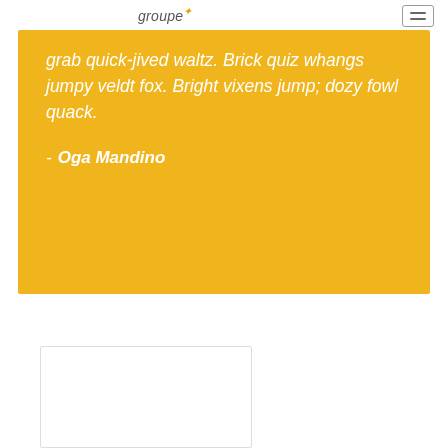groupe
grab quick-jived waltz. Brick quiz whangs jumpy veldt fox. Bright vixens jump; dozy fowl quack.
- Oga Mandino